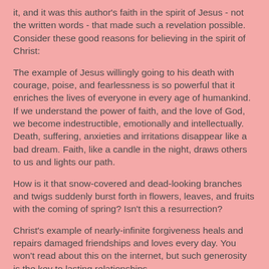it, and it was this author's faith in the spirit of Jesus - not the written words - that made such a revelation possible. Consider these good reasons for believing in the spirit of Christ:
The example of Jesus willingly going to his death with courage, poise, and fearlessness is so powerful that it enriches the lives of everyone in every age of humankind. If we understand the power of faith, and the love of God, we become indestructible, emotionally and intellectually. Death, suffering, anxieties and irritations disappear like a bad dream. Faith, like a candle in the night, draws others to us and lights our path.
How is it that snow-covered and dead-looking branches and twigs suddenly burst forth in flowers, leaves, and fruits with the coming of spring? Isn't this a resurrection?
Christ's example of nearly-infinite forgiveness heals and repairs damaged friendships and loves every day. You won't read about this on the internet, but such generosity is the key to lasting relationships.